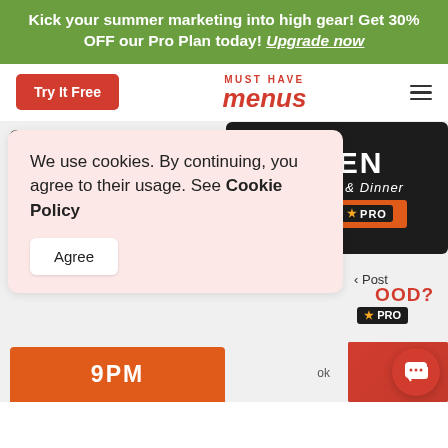Kick your summer marketing into high gear! Get 30% OFF our Pro Plan today! Upgrade now
[Figure (screenshot): Must Have Menus website navigation bar with Try It Free button, logo, and hamburger menu]
[Figure (photo): Restaurant icon with orange plate, spoon and fork on dark background]
[Figure (photo): Open for Lunch & Dinner 11AM- sign on dark background with PRO badge]
We use cookies. By continuing, you agree to their usage. See Cookie Policy
Agree
9PM
OOD?
ok